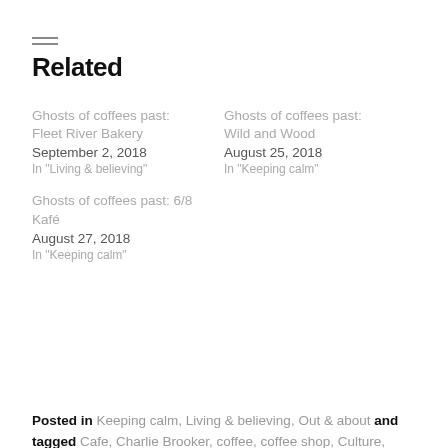Related
Ghosts of coffees past: Fleet River Bakery
September 2, 2018
In "Living & believing"
Ghosts of coffees past: Wild and Wood
August 25, 2018
In "Keeping calm"
Ghosts of coffees past: 6/8 Kafé
August 27, 2018
In "Keeping calm"
Posted in Keeping calm, Living & believing, Out & about and tagged Cafe, Charlie Brooker, coffee, coffee shop, Culture, Flat white, hipster, Holborn Grind, Hoxton, London, London